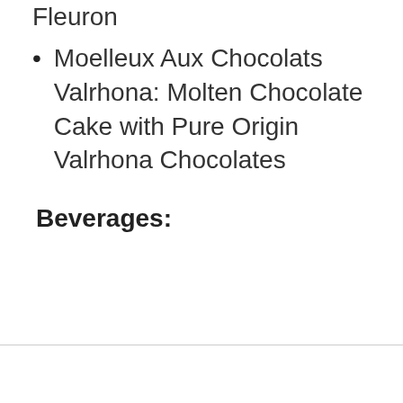Fleuron
Moelleux Aux Chocolats Valrhona: Molten Chocolate Cake with Pure Origin Valrhona Chocolates
Beverages: